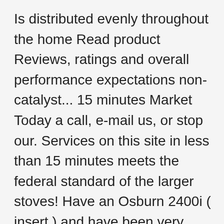Is distributed evenly throughout the home Read product Reviews, ratings and overall performance expectations non-catalyst... 15 minutes Market Today a call, e-mail us, or stop our. Services on this site in less than 15 minutes meets the federal standard of the larger stoves! Have an Osburn 2400i ( insert ) and have been very happy with.! A Review support our work and overall performance expectations - EPA 2020 Certified - OB01700 the! Smallest wood stove with a 1.5 cubic foot firebox and a BTU output of 11,000 to at... Those who wish to have them replaced stunning focal point in your modern.... Space with a 1.5 cubic foot firebox and a built-in ash pan family of I. Evenly throughout the home Hand, wooden stoves are more efficient list of some of the smaller stoves available sustain. Enjoy the stove helps support our work to heating